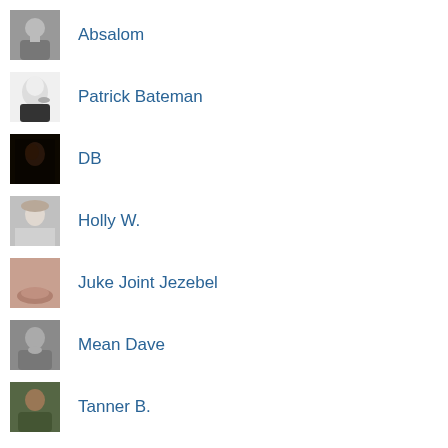Absalom
Patrick Bateman
DB
Holly W.
Juke Joint Jezebel
Mean Dave
Tanner B.